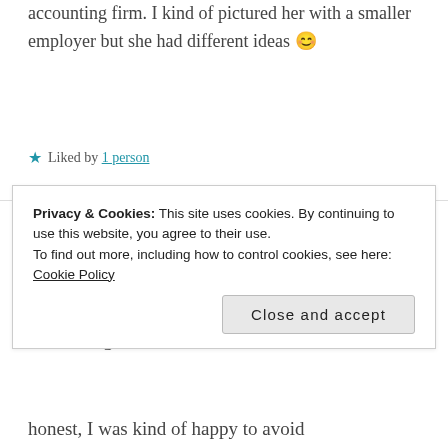accounting firm. I kind of pictured her with a smaller employer but she had different ideas 😊
★ Liked by 1 person
WendyW   1 year ago
Wow, congratulations on the
Privacy & Cookies: This site uses cookies. By continuing to use this website, you agree to their use. To find out more, including how to control cookies, see here: Cookie Policy
Close and accept
honest, I was kind of happy to avoid